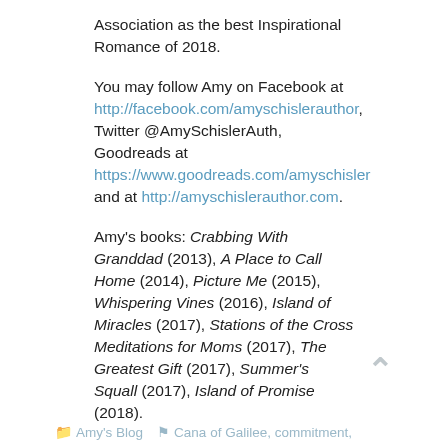Association as the best Inspirational Romance of 2018.
You may follow Amy on Facebook at http://facebook.com/amyschislerauthor, Twitter @AmySchislerAuth, Goodreads at https://www.goodreads.com/amyschisler and at http://amyschislerauthor.com.
Amy's books: Crabbing With Granddad (2013), A Place to Call Home (2014), Picture Me (2015), Whispering Vines (2016), Island of Miracles (2017), Stations of the Cross Meditations for Moms (2017), The Greatest Gift (2017), Summer's Squall (2017), Island of Promise (2018).
Amy's Blog   Cana of Galilee, commitment,